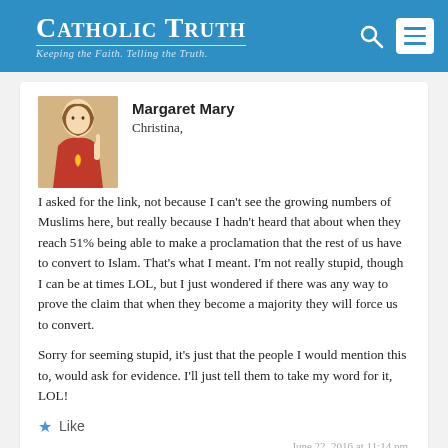Catholic Truth — Keeping the Faith. Telling the Truth.
[Figure (illustration): Circular avatar image showing a religious illustration of Jesus Christ with a sacred heart, wearing red robes, raising one hand in blessing]
Margaret Mary
Christina,
I asked for the link, not because I can't see the growing numbers of Muslims here, but really because I hadn't heard that about when they reach 51% being able to make a proclamation that the rest of us have to convert to Islam. That's what I meant. I'm not really stupid, though I can be at times LOL, but I just wondered if there was any way to prove the claim that when they become a majority they will force us to convert.
Sorry for seeming stupid, it's just that the people I would mention this to, would ask for evidence. I'll just tell them to take my word for it, LOL!
Like
June 22, 2016 at 11:14 pm